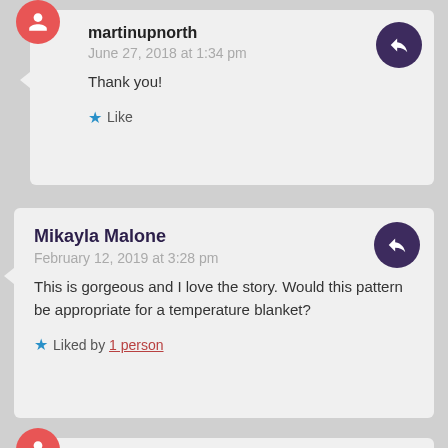martinupnorth
June 27, 2018 at 1:34 pm
Thank you!
★ Like
Mikayla Malone
February 12, 2019 at 3:28 pm
This is gorgeous and I love the story. Would this pattern be appropriate for a temperature blanket?
★ Liked by 1 person
martinupnorth
February 15, 2019 at 7:30 pm